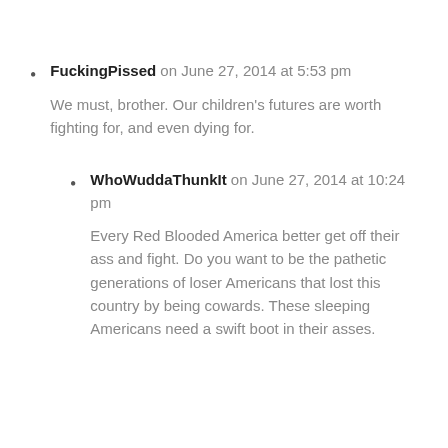FuckingPissed on June 27, 2014 at 5:53 pm

We must, brother. Our children's futures are worth fighting for, and even dying for.
WhoWuddaThunkIt on June 27, 2014 at 10:24 pm

Every Red Blooded America better get off their ass and fight. Do you want to be the pathetic generations of loser Americans that lost this country by being cowards. These sleeping Americans need a swift boot in their asses.